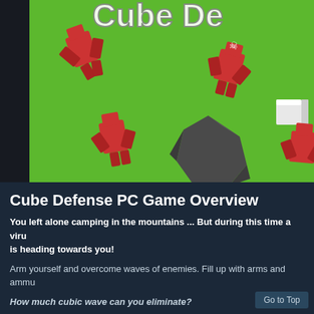[Figure (screenshot): Game screenshot showing a top-down view of green terrain with blocky red enemy characters and a dark rock/stone obstacle. Partially visible title text 'Cube De...' at the top in white outlined letters.]
Cube Defense PC Game Overview
You left alone camping in the mountains ... But during this time a viru is heading towards you!
Arm yourself and overcome waves of enemies. Fill up with arms and ammu
How much cubic wave can you eliminate?
Features :
? 2 maps!